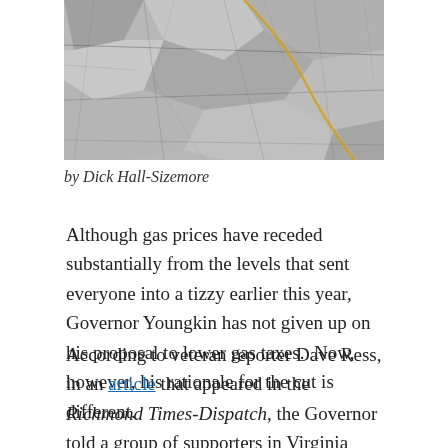[Figure (photo): Aerial or close-up view of cracked marble or stone surface with grey tones and a thin gold/yellow vein running diagonally]
by Dick Hall-Sizemore
Although gas prices have receded substantially from the levels that sent everyone into a tizzy earlier this year, Governor Youngkin has not given up on his proposal to lower gas taxes.  Now, however, his rationale for the cut is different.
According to veteran reporter Dave Ress, in an article that appeared in the Richmond Times-Dispatch, the Governor told a group of supporters in Virginia Beach recently that the gas tax should be decreased because